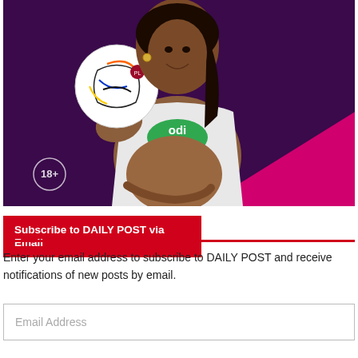[Figure (photo): A pregnant woman in a white hoodie with 'Odi Bets' logo holds a Premier League football ball, smiling. Background is dark purple with a pink/magenta triangle. An '18+' circle badge is in the lower left corner of the image.]
Subscribe to DAILY POST via Email
Enter your email address to subscribe to DAILY POST and receive notifications of new posts by email.